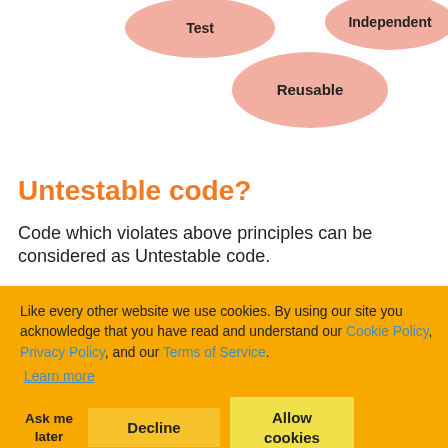[Figure (infographic): Salmon/pink oval bubbles labeled 'Test', 'Independent', and 'Reusable' arranged in a cluster at the top of the slide]
Untestable code?
Code which violates above principles can be considered as Untestable code.
eader of our IT st it will be easy
[Figure (infographic): Cookie consent banner (orange background) overlaying the slide with text about cookie policy, Privacy Policy, Terms of Service links, Learn more link, and three buttons: Ask me later, Decline, Allow cookies. Also partially visible diagram with blue arrow pointing to green oval labeled 'Less dependencies' and partial green oval labeled 'Independent' at bottom.]
Like every other website we use cookies. By using our site you acknowledge that you have read and understand our Cookie Policy, Privacy Policy, and our Terms of Service.
Learn more